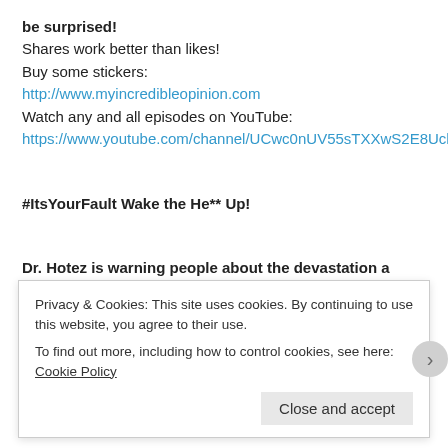be surprised!
Shares work better than likes!
Buy some stickers:
http://www.myincredibleopinion.com
Watch any and all episodes on YouTube:
https://www.youtube.com/channel/UCwc0nUV55sTXXwS2E8UchmA
#ItsYourFault Wake the He** Up!
Dr. Hotez is warning people about the devastation a measles outbreak in Texas could cause. Do his Zika warnings from last year make you still trust him? Part 2 of 2 (Ep79 is part 1).
Shares work better than likes!
Medical bracelets. T-Shirts. Books & Stickers for sale:
Privacy & Cookies: This site uses cookies. By continuing to use this website, you agree to their use.
To find out more, including how to control cookies, see here: Cookie Policy
Close and accept